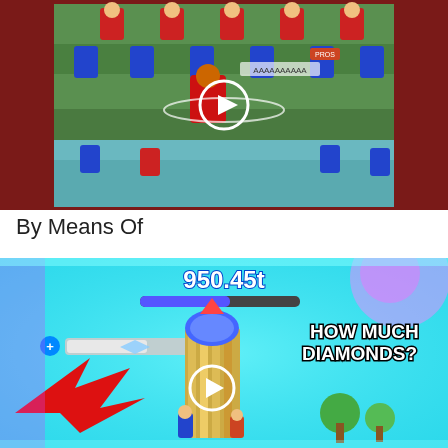[Figure (screenshot): Video thumbnail of a retro-style soccer/football game with pixel art characters in red and blue uniforms on a green field. A white play button circle is overlaid in the center. The thumbnail is set against a dark red background.]
By Means Of
[Figure (screenshot): Video thumbnail of a mobile game screenshot showing '950.45t' score at the top with a blue progress bar, text reading 'HOW MUCH DIAMONDS?' on the right side, a red arrow pointing left on the lower left, a slot/upgrade bar with a blue plus button, a colorful tower/building in the center, trees and a play button circle overlay. Bright cyan/blue background with pink burst effects.]